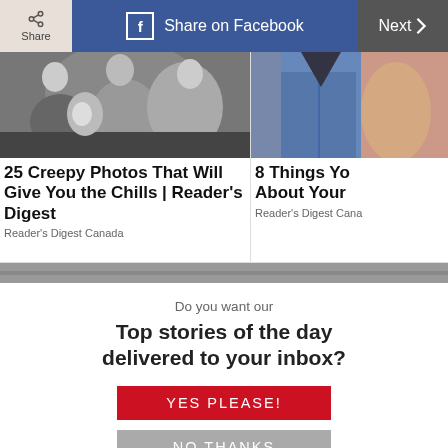[Figure (screenshot): Top navigation bar with Share button, Share on Facebook button (blue), and Next arrow button (grey)]
[Figure (photo): Black and white vintage photo showing a group of women and a child]
25 Creepy Photos That Will Give You the Chills | Reader's Digest
Reader's Digest Canada
[Figure (photo): Partial photo showing a person in denim clothing]
8 Things Yo About Your
Reader's Digest Cana
[Figure (photo): Partial grey preview strip of an image]
Do you want our
Top stories of the day delivered to your inbox?
YES PLEASE!
NO THANKS